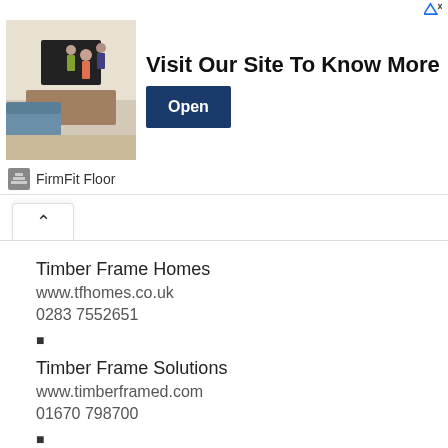[Figure (screenshot): Advertisement banner: FirmFit Floor ad with living room image, 'Visit Our Site To Know More' text and 'Open' button]
Timber Frame Homes
www.tfhomes.co.uk
0283 7552651
■
Timber Frame Solutions
www.timberframed.com
01670 798700
■
Timber Frameworks